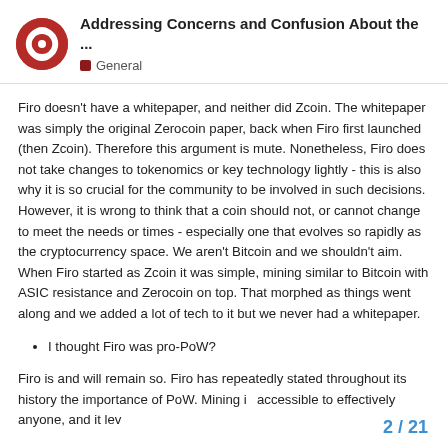Addressing Concerns and Confusion About the ... | General
Firo doesn't have a whitepaper, and neither did Zcoin. The whitepaper was simply the original Zerocoin paper, back when Firo first launched (then Zcoin). Therefore this argument is mute. Nonetheless, Firo does not take changes to tokenomics or key technology lightly - this is also why it is so crucial for the community to be involved in such decisions. However, it is wrong to think that a coin should not, or cannot change to meet the needs or times - especially one that evolves so rapidly as the cryptocurrency space. We aren't Bitcoin and we shouldn't aim. When Firo started as Zcoin it was simple, mining similar to Bitcoin with ASIC resistance and Zerocoin on top. That morphed as things went along and we added a lot of tech to it but we never had a whitepaper.
I thought Firo was pro-PoW?
Firo is and will remain so. Firo has repeatedly stated throughout its history the importance of PoW. Mining i accessible to effectively anyone, and it lev
2 / 21